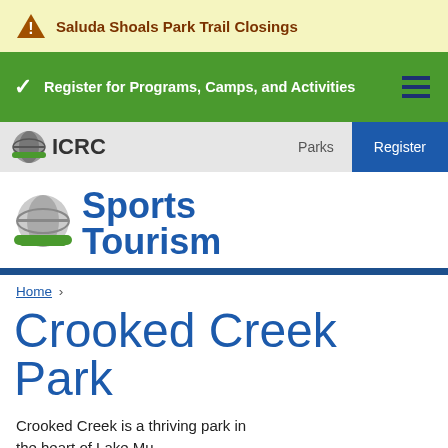Saluda Shoals Park Trail Closings
Register for Programs, Camps, and Activities
[Figure (logo): ICRC logo with globe icon, nav bar with Parks and Register links]
[Figure (logo): Sports Tourism logo with ICRC globe icon and blue bold text]
Home >
Crooked Creek Park
Crooked Creek is a thriving park in the heart of Lake Murray...